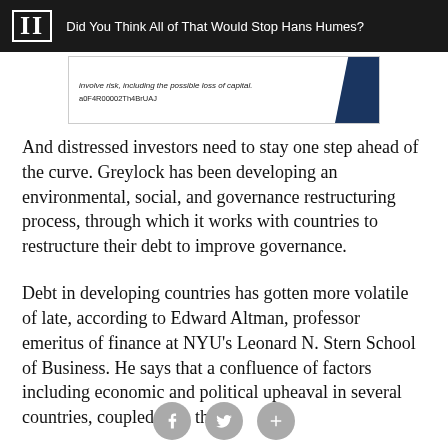II  Did You Think All of That Would Stop Hans Humes?
[Figure (other): Advertisement banner with text: involve risk, including the possible loss of capital. a0F4R00002Th4BrUAJ, with a dark navy graphic element on the right.]
And distressed investors need to stay one step ahead of the curve. Greylock has been developing an environmental, social, and governance restructuring process, through which it works with countries to restructure their debt to improve governance.
Debt in developing countries has gotten more volatile of late, according to Edward Altman, professor emeritus of finance at NYU's Leonard N. Stern School of Business. He says that a confluence of factors including economic and political upheaval in several countries, coupled with the